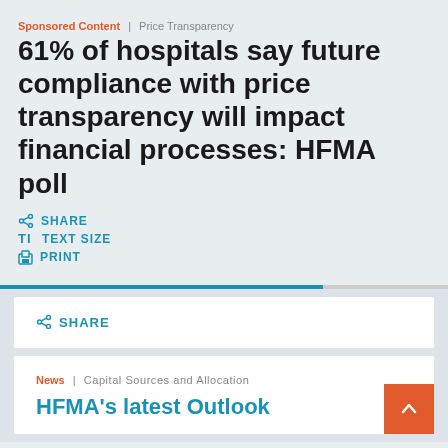Sponsored Content | Price Transparency
61% of hospitals say future compliance with price transparency will impact financial processes: HFMA poll
SHARE
TEXT SIZE
PRINT
SHARE
News | Capital Sources and Allocation
HFMA's latest Outlook